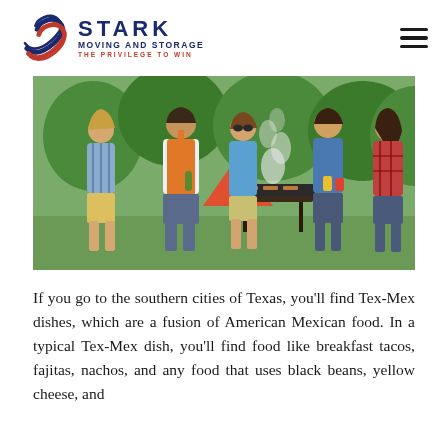Stark Moving and Storage — The Privilege to Win
[Figure (photo): Group of five young people at an outdoor barbecue gathering; a man in an orange apron is grilling while friends stand around talking and smiling, with smoke rising from the grill and green trees in the background.]
If you go to the southern cities of Texas, you'll find Tex-Mex dishes, which are a fusion of American Mexican food. In a typical Tex-Mex dish, you'll find food like breakfast tacos, fajitas, nachos, and any food that uses black beans, yellow cheese, and